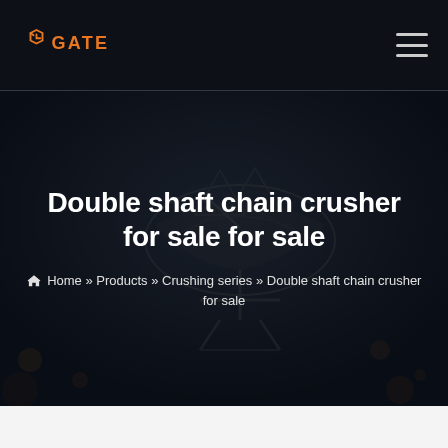GATE (logo) — navigation header
[Figure (screenshot): Dark industrial hero background image with large satellite dish / industrial equipment silhouette against a blurred night scene]
Double shaft chain crusher for sale for sale
🏠 Home » Products » Crushing series » Double shaft chain crusher for sale